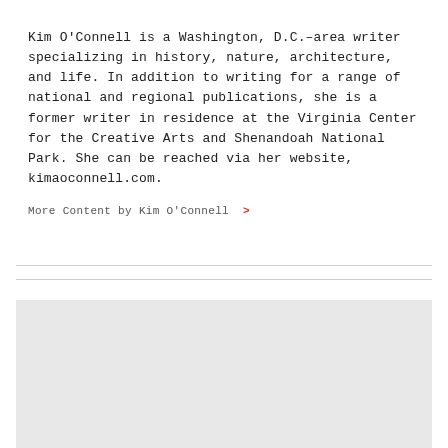Kim O'Connell is a Washington, D.C.–area writer specializing in history, nature, architecture, and life. In addition to writing for a range of national and regional publications, she is a former writer in residence at the Virginia Center for the Creative Arts and Shenandoah National Park. She can be reached via her website, kimaoconnell.com.
More Content by Kim O'Connell >
MORE LIKE THIS >
[Figure (photo): Partial view of a photo with pink/mauve background showing what appears to be art supplies or tools]